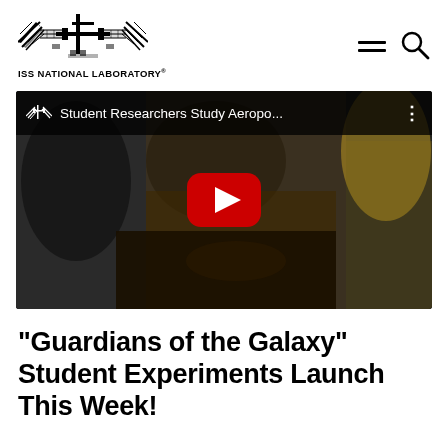ISS NATIONAL LABORATORY
[Figure (screenshot): YouTube video thumbnail showing student researchers working on electronics/wiring at a table. Video title: 'Student Researchers Study Aeropo...' with ISS National Laboratory logo and YouTube play button overlay.]
"Guardians of the Galaxy" Student Experiments Launch This Week!